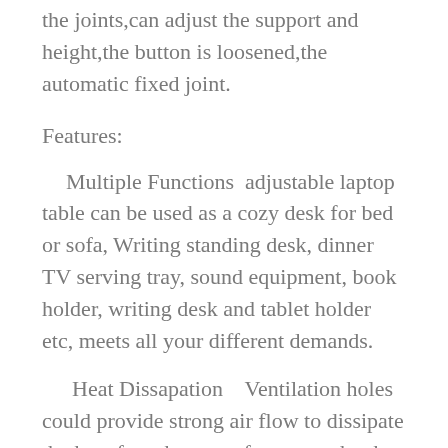the joints,can adjust the support and height,the button is loosened,the automatic fixed joint.
Features:
Multiple Functions  adjustable laptop table can be used as a cozy desk for bed or sofa, Writing standing desk, dinner TV serving tray, sound equipment, book holder, writing desk and tablet holder etc, meets all your different demands.
Heat Dissapation   Ventilation holes could provide strong air flow to dissipate the heat from bottom of your notebook for better heat dissipation, it's more silent.
Ergonomic Design  This laptop stand is designed with full control and flexibility for your convenience and the...